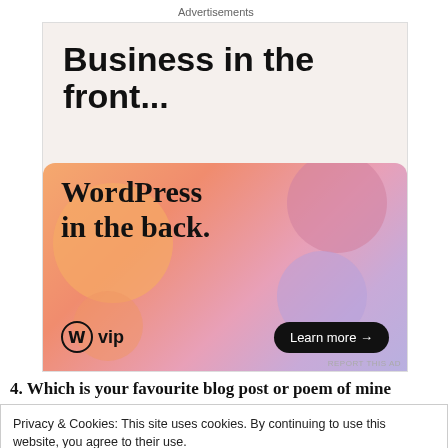Advertisements
[Figure (illustration): WordPress VIP advertisement. Top section on light beige background reads 'Business in the front...' in bold black sans-serif. Bottom colorful gradient section (orange to pink to purple) reads 'WordPress in the back.' with WordPress VIP logo and 'Learn more →' button in black pill shape.]
4. Which is your favourite blog post or poem of mine
Privacy & Cookies: This site uses cookies. By continuing to use this website, you agree to their use.
To find out more, including how to control cookies, see here: Cookie Policy
Close and accept
Cinderella in my heart for your beautiful heart